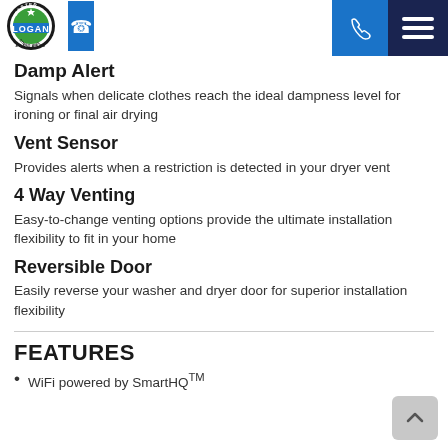Logan Appliance logo, phone button, menu button
Damp Alert
Signals when delicate clothes reach the ideal dampness level for ironing or final air drying
Vent Sensor
Provides alerts when a restriction is detected in your dryer vent
4 Way Venting
Easy-to-change venting options provide the ultimate installation flexibility to fit in your home
Reversible Door
Easily reverse your washer and dryer door for superior installation flexibility
FEATURES
WiFi powered by SmartHQ™